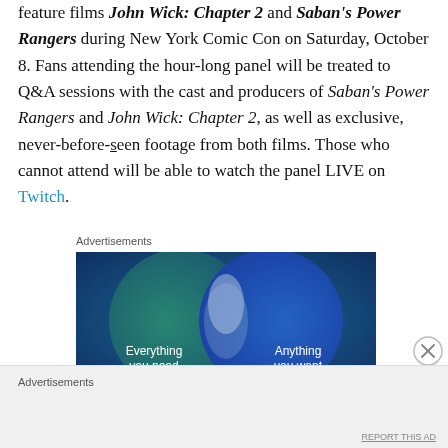feature films John Wick: Chapter 2 and Saban's Power Rangers during New York Comic Con on Saturday, October 8. Fans attending the hour-long panel will be treated to Q&A sessions with the cast and producers of Saban's Power Rangers and John Wick: Chapter 2, as well as exclusive, never-before-seen footage from both films. Those who cannot attend will be able to watch the panel LIVE on Twitch.
Advertisements
[Figure (other): Advertisement banner with a Venn diagram of two overlapping circles on a gradient blue-green background. Left circle contains text 'Everything you need', right circle contains text 'Anything you want'.]
Advertisements